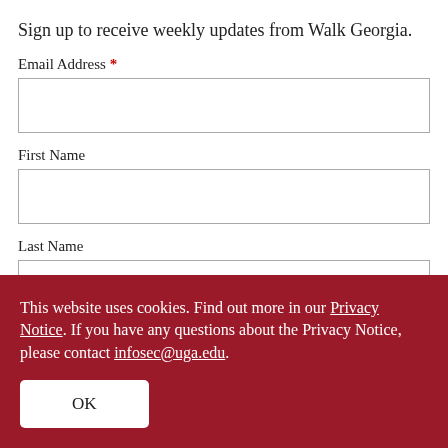Sign up to receive weekly updates from Walk Georgia.
Email Address *
First Name
Last Name
This website uses cookies. Find out more in our Privacy Notice. If you have any questions about the Privacy Notice, please contact infosec@uga.edu.
OK